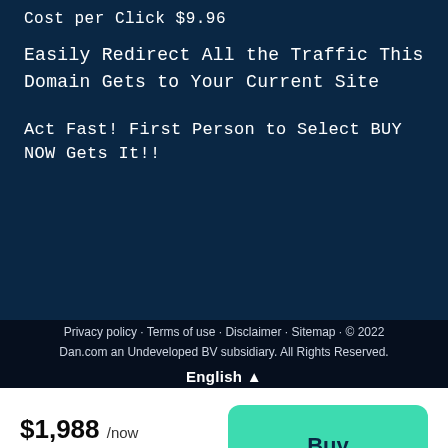Cost per Click $9.96
Easily Redirect All the Traffic This Domain Gets to Your Current Site
Act Fast! First Person to Select BUY NOW Gets It!!
Privacy policy · Terms of use · Disclaimer · Sitemap · © 2022 Dan.com an Undeveloped BV subsidiary. All Rights Reserved.
English ▲
$1,988 /now $100 /month
Buy